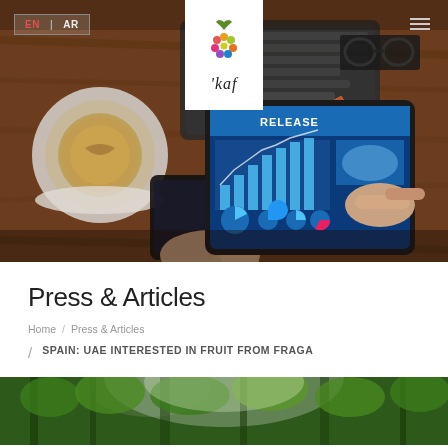[Figure (photo): Hero banner showing a business person's hands pointing at a tablet displaying a press release with charts and a world map, on a wooden desk with coffee, glasses, smartphone and pencil. KAF company logo centered at top in a white panel. Language switcher EN/AR top-left. Hamburger menu top-right.]
Press & Articles
Home / Press & Articles
/ SPAIN: UAE INTERESTED IN FRUIT FROM FRAGA
[Figure (photo): Partial bottom image showing green foliage/trees with light filtering through.]